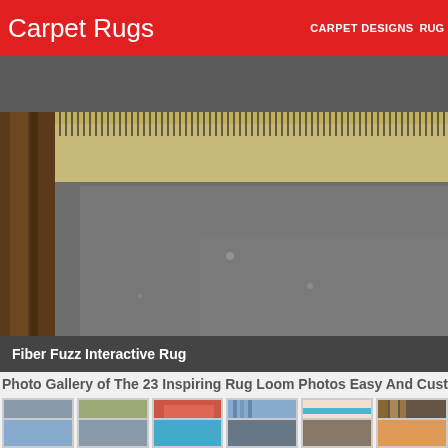Carpet Rugs | CARPET DESIGNS | RUG...
[Figure (photo): Close-up photo of a rug loom with fibers/bristles visible at top, wooden frame element on left, concrete or stone floor below]
Fiber Fuzz Interactive Rug
Photo Gallery of The 23 Inspiring Rug Loom Photos Easy And Custo...
[Figure (photo): Thumbnail grid row 1: six small photos of various rug looms and woven rugs]
[Figure (photo): Thumbnail grid row 2: six small photos of various rug looms and woven rugs (partial, cropped)]